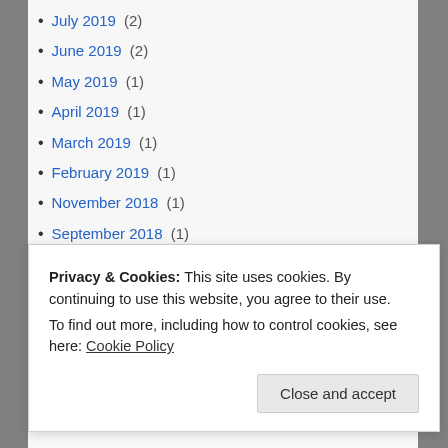July 2019 (2)
June 2019 (2)
May 2019 (1)
April 2019 (1)
March 2019 (1)
February 2019 (1)
November 2018 (1)
September 2018 (1)
August 2018 (3)
July 2018 (2)
June 2018 (2)
May 2018 (1)
April 2018 (6)
February 2018 (1)
Privacy & Cookies: This site uses cookies. By continuing to use this website, you agree to their use. To find out more, including how to control cookies, see here: Cookie Policy